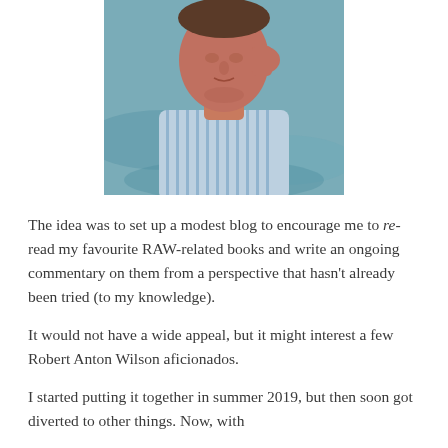[Figure (photo): A man wearing a blue and white striped shirt, photographed from the chest up. The background shows rippling water. The man appears to be middle-aged or older, and is looking slightly downward.]
The idea was to set up a modest blog to encourage me to re-read my favourite RAW-related books and write an ongoing commentary on them from a perspective that hasn't already been tried (to my knowledge).
It would not have a wide appeal, but it might interest a few Robert Anton Wilson aficionados.
I started putting it together in summer 2019, but then soon got diverted to other things. Now, with